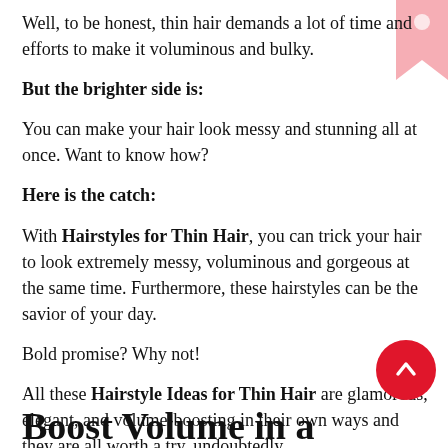Well, to be honest, thin hair demands a lot of time and efforts to make it voluminous and bulky.
But the brighter side is:
You can make your hair look messy and stunning all at once. Want to know how?
Here is the catch:
With Hairstyles for Thin Hair, you can trick your hair to look extremely messy, voluminous and gorgeous at the same time. Furthermore, these hairstyles can be the savior of your day.
Bold promise? Why not!
All these Hairstyle Ideas for Thin Hair are glamorous, elegant, and volume-boosting in their own ways and they are all worth a try, undoubtedly.
Boost Volume in a